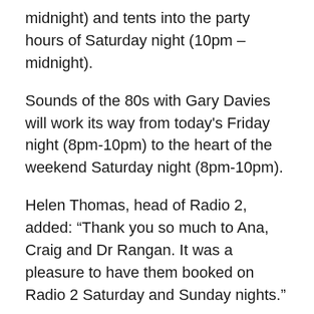midnight) and tents into the party hours of Saturday night (10pm – midnight).
Sounds of the 80s with Gary Davies will work its way from today's Friday night (8pm-10pm) to the heart of the weekend Saturday night (8pm-10pm).
Helen Thomas, head of Radio 2, added: “Thank you so much to Ana, Craig and Dr Rangan. It was a pleasure to have them booked on Radio 2 Saturday and Sunday nights.”
New adjusted schedule from Friday 15e July:
Friday